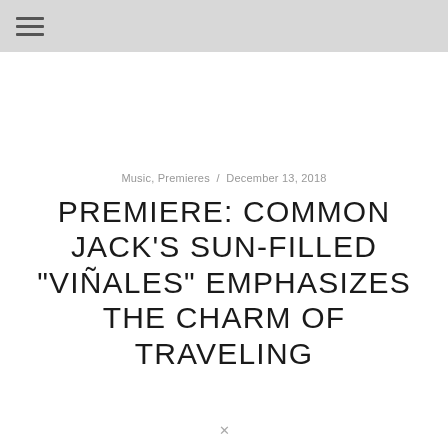≡
Music, Premieres / December 13, 2018
PREMIERE: COMMON JACK'S SUN-FILLED "VIÑALES" EMPHASIZES THE CHARM OF TRAVELING